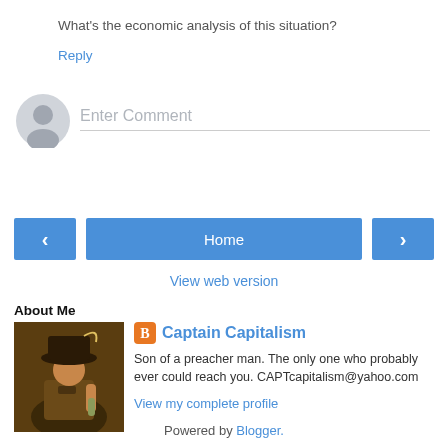What's the economic analysis of this situation?
Reply
[Figure (illustration): Generic user avatar icon — grey silhouette of a person on a light grey circle background]
Enter Comment
‹
Home
›
View web version
About Me
[Figure (illustration): Painting-style illustration of a pirate or colonial-era figure holding a bottle, wearing a large hat]
Captain Capitalism
Son of a preacher man. The only one who probably ever could reach you. CAPTcapitalism@yahoo.com
View my complete profile
Powered by Blogger.